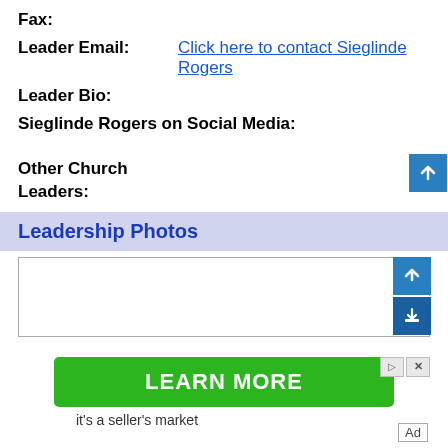Fax:
Leader Email: Click here to contact Sieglinde Rogers
Leader Bio:
Sieglinde Rogers on Social Media:
Other Church Leaders:
Leadership Photos
[Figure (other): Upload box with upload/link buttons]
[Figure (other): Advertisement: green LEARN MORE button with ad controls and text 'it's a seller's market']
Ad